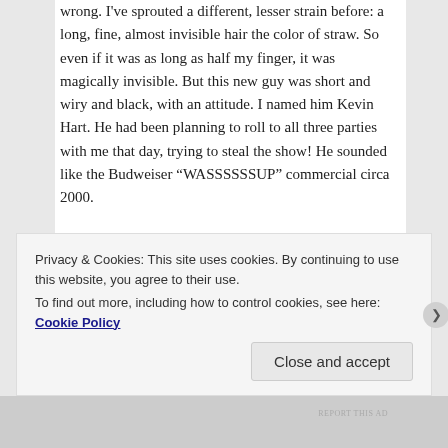wrong. I've sprouted a different, lesser strain before: a long, fine, almost invisible hair the color of straw. So even if it was as long as half my finger, it was magically invisible. But this new guy was short and wiry and black, with an attitude. I named him Kevin Hart. He had been planning to roll to all three parties with me that day, trying to steal the show! He sounded like the Budweiser “WASSSSSSSUP” commercial circa 2000.
For some reason, this Kevin Hart made me think about the concept of Home.
REPORT THIS AD
Privacy & Cookies: This site uses cookies. By continuing to use this website, you agree to their use.
To find out more, including how to control cookies, see here: Cookie Policy